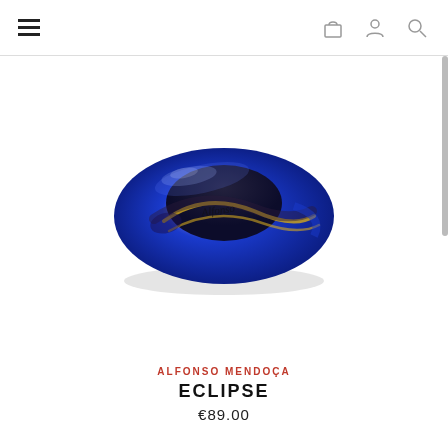Navigation header with hamburger menu, cart icon, user icon, search icon
[Figure (photo): A blue glazed ceramic/glass ring bangle with swirling gold and dark purple patterns, photographed on white background. The ring is dome-shaped with a cobalt blue gloss finish and decorative abstract swirl markings.]
ALFONSO MENDOÇA
ECLIPSE
€89.00